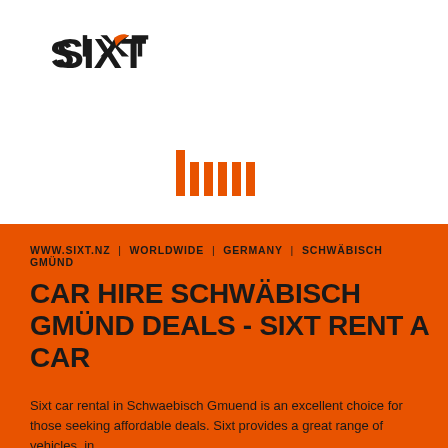[Figure (logo): SIXT car rental company logo in black with orange accent on the X letter]
[Figure (other): Orange barcode-like vertical bars icon on white background]
WWW.SIXT.NZ | WORLDWIDE | GERMANY | SCHWÄBISCH GMÜND
CAR HIRE SCHWÄBISCH GMÜND DEALS - SIXT RENT A CAR
Sixt car rental in Schwaebisch Gmuend is an excellent choice for those seeking affordable deals. Sixt provides a great range of vehicles, in